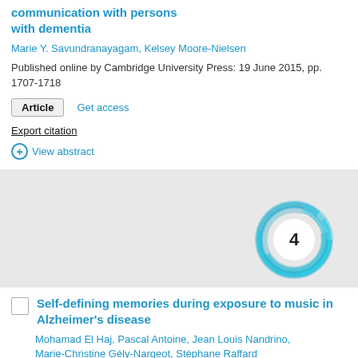communication with persons with dementia
Marie Y. Savundranayagam, Kelsey Moore-Nielsen
Published online by Cambridge University Press: 19 June 2015, pp. 1707-1718
Article   Get access
Export citation
View abstract
[Figure (other): Altmetric donut badge showing citation count of 4, with teal/blue swirling ring design around white circle with number 4]
Self-defining memories during exposure to music in Alzheimer's disease
Mohamad El Haj, Pascal Antoine, Jean Louis Nandrino, Marie-Christine Gély-Nargeot, Stéphane Raffard
Published online by Cambridge University Press: 28 May 2015, pp. 1719-1730
Article